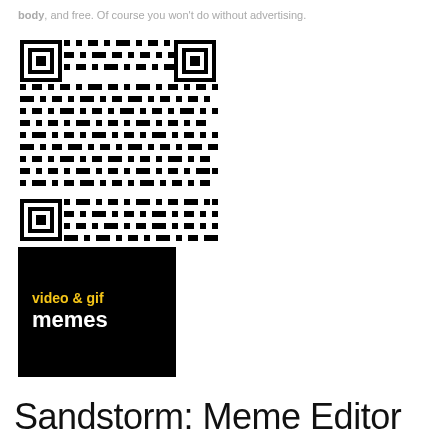body, and free. Of course you won't do without advertising.
[Figure (other): QR code image linking to an app or website]
[Figure (logo): Black background logo reading 'video & gif memes' with yellow and white text]
Sandstorm: Meme Editor